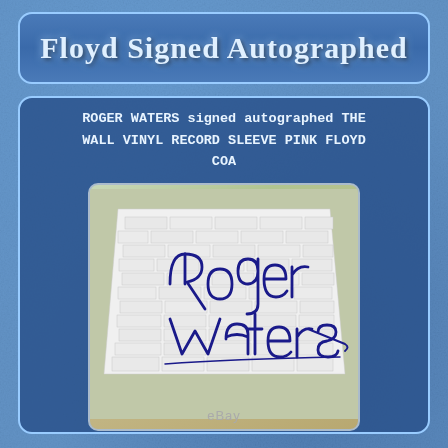Floyd Signed Autographed
ROGER WATERS signed autographed THE WALL VINYL RECORD SLEEVE PINK FLOYD COA
[Figure (photo): Photo of The Wall vinyl record sleeve by Pink Floyd with Roger Waters' blue ink autograph signature, showing the iconic white brick wall album cover art. eBay watermark at bottom.]